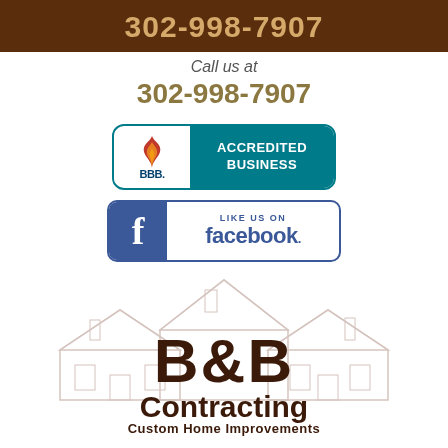302-998-7907
Call us at
302-998-7907
[Figure (logo): BBB Accredited Business badge with teal background and BBB flame logo]
[Figure (logo): Like us on Facebook badge with Facebook blue branding]
[Figure (logo): B&B Contracting Custom Home Improvements logo with house illustration sketch in background]